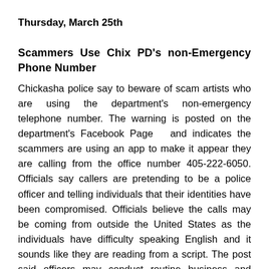Thursday, March 25th
Scammers Use Chix PD's non-Emergency Phone Number
Chickasha police say to beware of scam artists who are using the department's non-emergency telephone number. The warning is posted on the department's Facebook Page  and indicates the scammers are using an app to make it appear they are calling from the office number 405-222-6050. Officials say callers are pretending to be a police officer and telling individuals that their identities have been compromised. Officials believe the calls may be coming from outside the United States as the individuals have difficulty speaking English and it sounds like they are reading from a script. The post said officers may conduct routine business and interviews from the non-emergency number and